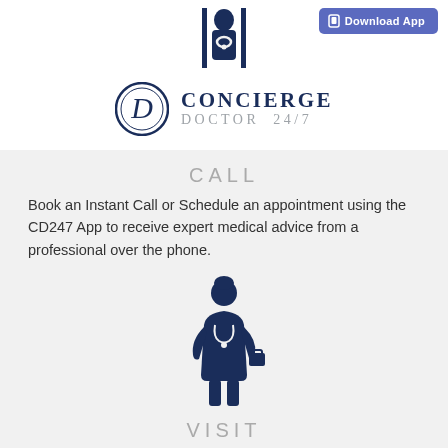[Figure (logo): Concierge Doctor 24/7 logo with doctor icon and circular D emblem, plus Download App button in top right]
CALL
Book an Instant Call or Schedule an appointment using the CD247 App to receive expert medical advice from a professional over the phone.
[Figure (illustration): Female nurse/doctor silhouette icon in dark navy blue, standing with stethoscope and briefcase]
VISIT